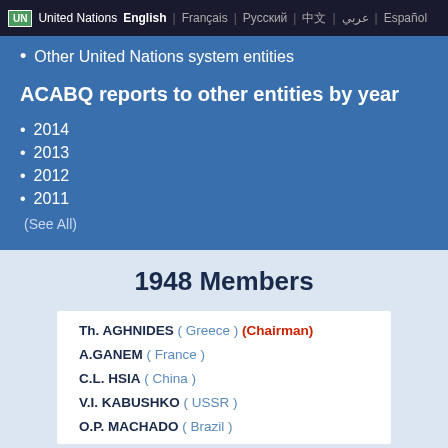UN United Nations | English | Français | Русский | 中文 | عربي | Español
Other United Nations system entities
ACABQ reports to other entities by year
2014
2013
2012
2011
(See All)
1948 Members
Th. AGHNIDES ( Greece ) (Chairman)
A.GANEM ( France )
C.L. HSIA ( China )
V.I. KABUSHKO ( USSR )
O.P. MACHADO ( Brazil )